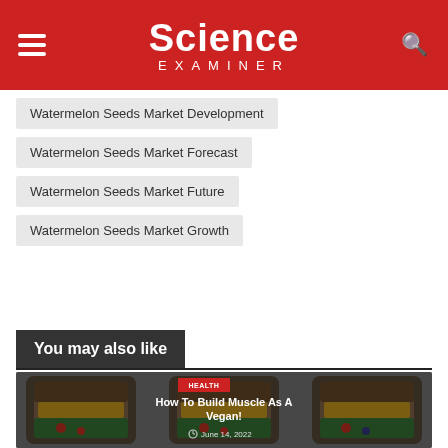Science Examiner
Watermelon Seeds Market Development
Watermelon Seeds Market Forecast
Watermelon Seeds Market Future
Watermelon Seeds Market Growth
You may also like
[Figure (photo): Three glass meal prep containers filled with colorful healthy food including grains, corn, tomatoes, and greens. Article card for 'How To Build Muscle As A Vegan!' with HEALTH tag and date June 14, 2022.]